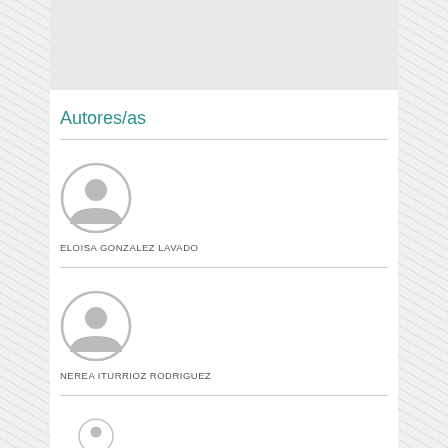[Figure (other): Gray placeholder image box at top of content area]
Autores/as
ELOISA GONZALEZ LAVADO
NEREA ITURRIOZ RODRIGUEZ